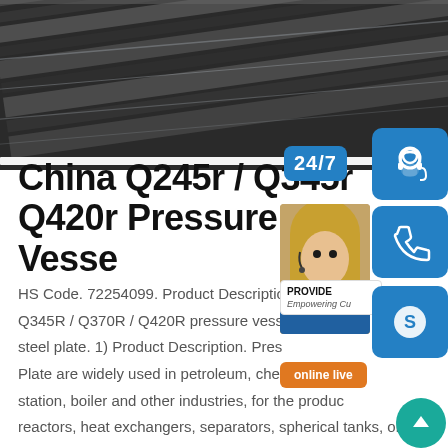[Figure (photo): Dark metallic steel plates stacked, viewed from an angle showing ridged edges against a dark background]
China Q245r / Q345r Q420r Pressure Vessel
HS Code. 72254099. Product Description Q345R / Q370R / Q420R pressure vessel steel plate. 1) Product Description. Pressure Plate are widely used in petroleum, chemical, power station, boiler and other industries, for the production reactors, heat exchangers, separators, spherical tanks, oil and gas tanks sp.info
[Figure (screenshot): Customer service overlay panel with 24/7 badge, headset icon, phone icon, Skype icon, customer service agent photo, PROVIDE Empowering Customers text, online live button, and teal up-arrow scroll button]